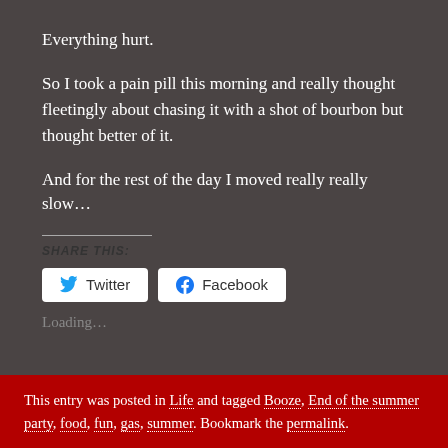Everything hurt.
So I took a pain pill this morning and really thought fleetingly about chasing it with a shot of bourbon but thought better of it.
And for the rest of the day I moved really really slow…
SHARE THIS:
Loading…
This entry was posted in Life and tagged Booze, End of the summer party, food, fun, gas, summer. Bookmark the permalink.